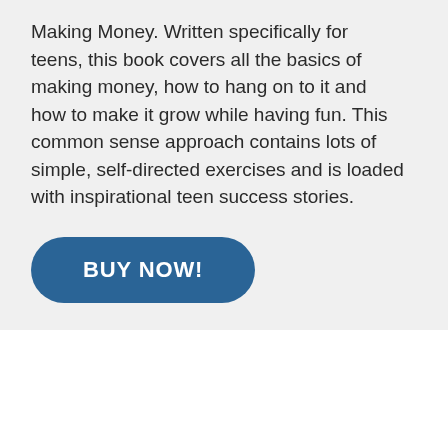Making Money. Written specifically for teens, this book covers all the basics of making money, how to hang on to it and how to make it grow while having fun. This common sense approach contains lots of simple, self-directed exercises and is loaded with inspirational teen success stories.
BUY NOW!